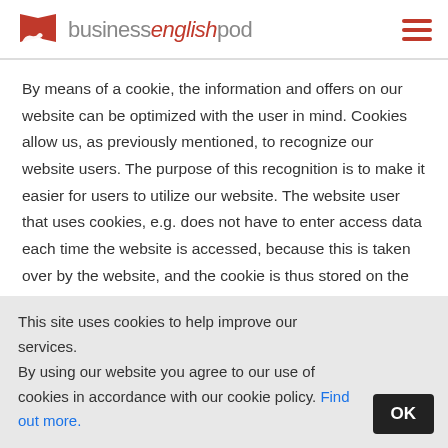businessenglishpod
By means of a cookie, the information and offers on our website can be optimized with the user in mind. Cookies allow us, as previously mentioned, to recognize our website users. The purpose of this recognition is to make it easier for users to utilize our website. The website user that uses cookies, e.g. does not have to enter access data each time the website is accessed, because this is taken over by the website, and the cookie is thus stored on the user's computer system. Another example is the cookie of a
This site uses cookies to help improve our services. By using our website you agree to our use of cookies in accordance with our cookie policy. Find out more.